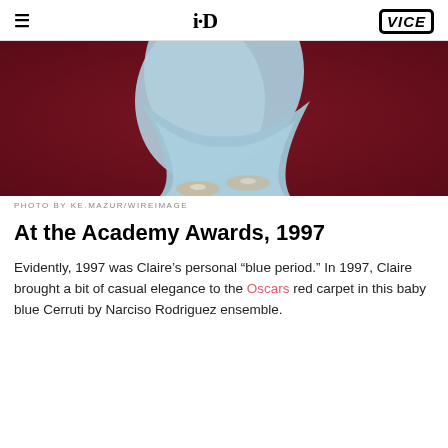i-D  VICE
[Figure (photo): Close-up photo of a person wearing a baby blue flowing gown and crystal sandals walking on a red carpet, shot from the waist down.]
PHOTO BY KE.MAZUR/WIREIMAGE
At the Academy Awards, 1997
Evidently, 1997 was Claire’s personal “blue period.” In 1997, Claire brought a bit of casual elegance to the Oscars red carpet in this baby blue Cerruti by Narciso Rodriguez ensemble.